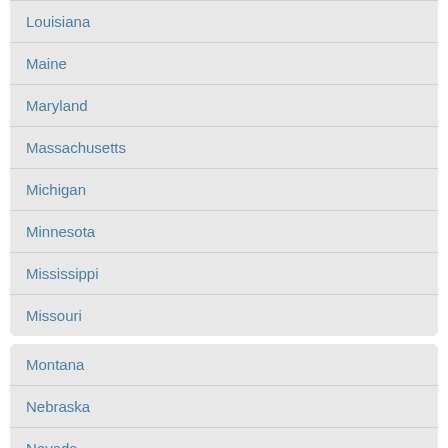Louisiana
Maine
Maryland
Massachusetts
Michigan
Minnesota
Mississippi
Missouri
Montana
Nebraska
Nevada